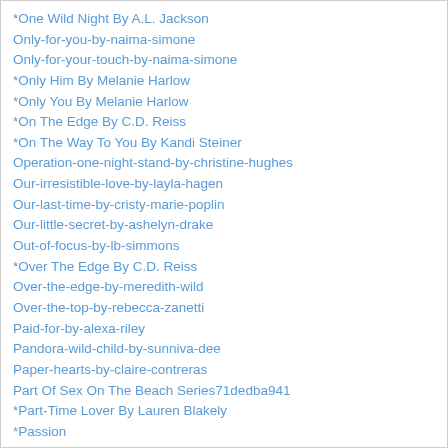*One Wild Night By A.L. Jackson
Only-for-you-by-naima-simone
Only-for-your-touch-by-naima-simone
*Only Him By Melanie Harlow
*Only You By Melanie Harlow
*On The Edge By C.D. Reiss
*On The Way To You By Kandi Steiner
Operation-one-night-stand-by-christine-hughes
Our-irresistible-love-by-layla-hagen
Our-last-time-by-cristy-marie-poplin
Our-little-secret-by-ashelyn-drake
Out-of-focus-by-lb-simmons
*Over The Edge By C.D. Reiss
Over-the-edge-by-meredith-wild
Over-the-top-by-rebecca-zanetti
Paid-for-by-alexa-riley
Pandora-wild-child-by-sunniva-dee
Paper-hearts-by-claire-contreras
Part Of Sex On The Beach Series71dedba941
*Part-Time Lover By Lauren Blakely
*Passion